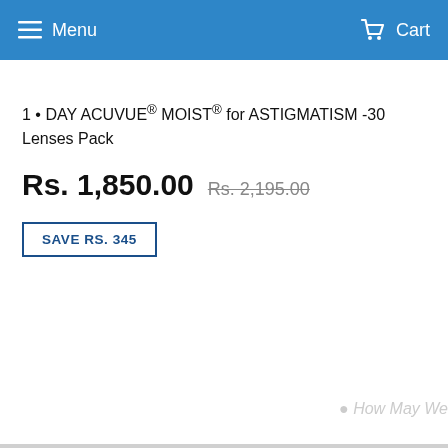Menu   Cart
1 • DAY ACUVUE® MOIST® for ASTIGMATISM -30 Lenses Pack
Rs. 1,850.00  Rs. 2,195.00
SAVE RS. 345